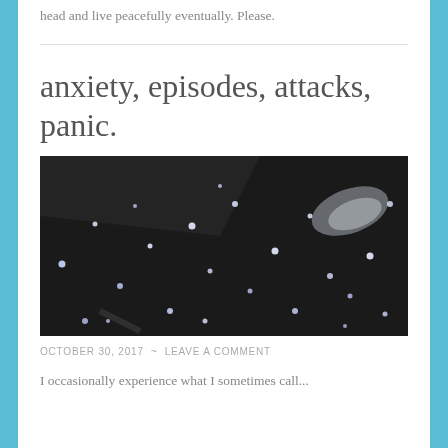head and live peacefully eventually. Please.
anxiety, episodes, attacks, panic.
[Figure (photo): Dark background with scattered small glowing white/blue light dots, resembling stars or bokeh lights, with a blurred pale shape in the upper right.]
OCTOBER 30, 2017  ~  LEAVE A COMMENT
I occasionally experience what I sometimes call...